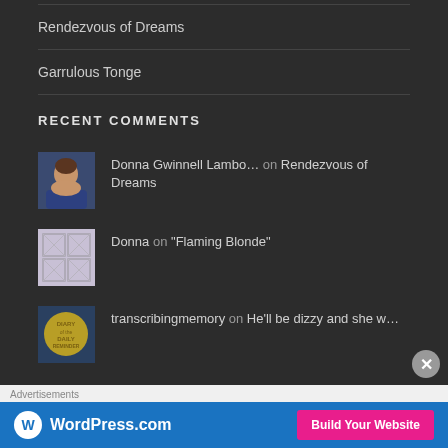Rendezvous of Dreams
Garrulous Tonge
RECENT COMMENTS
Donna Gwinnell Lambo... on Rendezvous of Dreams
Donna on “Flaming Blonde”
transcribingmemory on He'll be dizzy and she w...
Advertisements
[Figure (screenshot): WordPress.com advertisement banner with logo and 'Build Your Website' button]